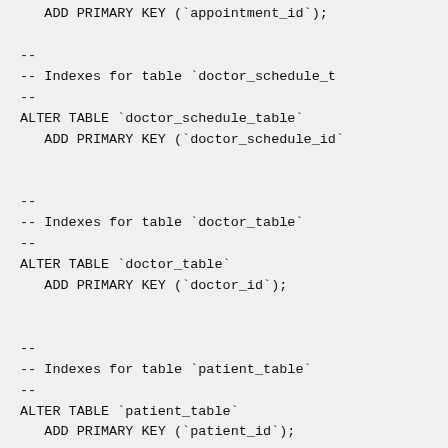ADD PRIMARY KEY (`appointment_id`);

--
-- Indexes for table `doctor_schedule_t
--
ALTER TABLE `doctor_schedule_table`
   ADD PRIMARY KEY (`doctor_schedule_id`


--
-- Indexes for table `doctor_table`
--
ALTER TABLE `doctor_table`
   ADD PRIMARY KEY (`doctor_id`);


--
-- Indexes for table `patient_table`
--
ALTER TABLE `patient_table`
   ADD PRIMARY KEY (`patient_id`);